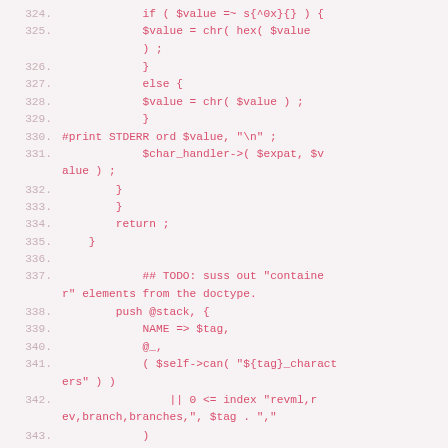Code listing lines 324-343, Perl source code with line numbers
[Figure (screenshot): Perl source code snippet, lines 324-343, showing character handling logic with hex value checking, char_handler call, stack push with NAME and tag fields, and a TODO comment about container elements from doctype.]